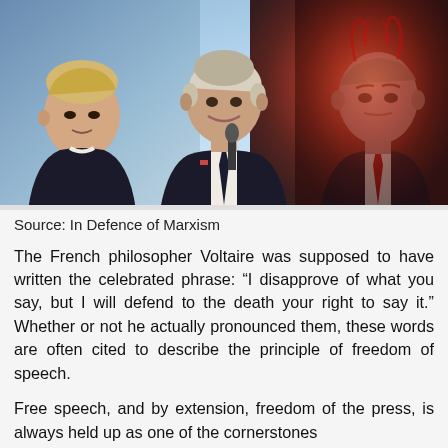[Figure (photo): Composite photo of three political figures: Boris Johnson on the left with a red tie against a blue sky background, Joe Biden in the center holding a microphone against a sky background, and Vladimir Putin on the right with a red tie against a fiery red background with devil horns edited onto his head.]
Source: In Defence of Marxism
The French philosopher Voltaire was supposed to have written the celebrated phrase: “I disapprove of what you say, but I will defend to the death your right to say it.” Whether or not he actually pronounced them, these words are often cited to describe the principle of freedom of speech.
Free speech, and by extension, freedom of the press, is always held up as one of the cornerstones